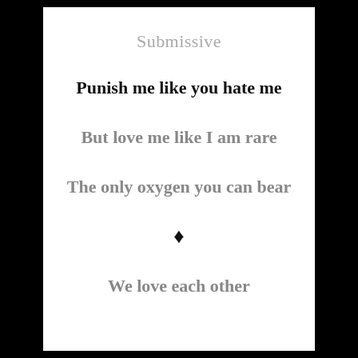Submissive
Punish me like you hate me
But love me like I am rare
The only oxygen you can bear
♦
We love each other